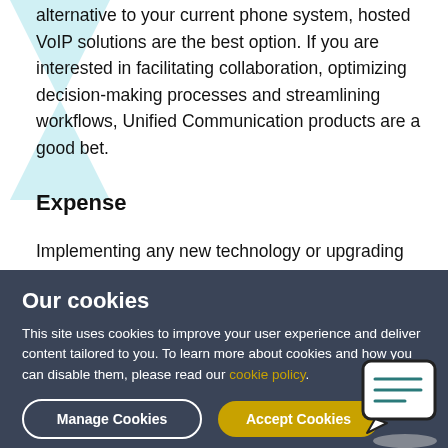alternative to your current phone system, hosted VoIP solutions are the best option. If you are interested in facilitating collaboration, optimizing decision-making processes and streamlining workflows, Unified Communication products are a good bet.
Expense
Implementing any new technology or upgrading existing systems comes with a cost. Since the scope of VoIP and UC differs quite a
Our cookies
This site uses cookies to improve your user experience and deliver content tailored to you. To learn more about cookies and how you can disable them, please read our cookie policy.
Manage Cookies
Accept Cookies